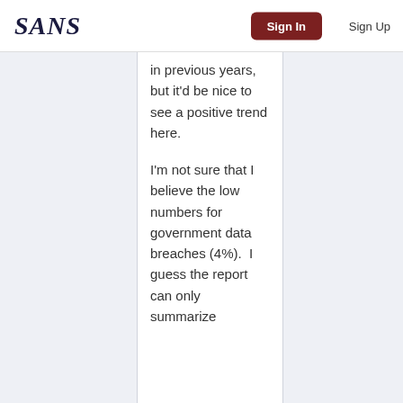SANS  Sign In  Sign Up
in previous years, but it'd be nice to see a positive trend here.
I'm not sure that I believe the low numbers for government data breaches (4%).  I guess the report can only summarize